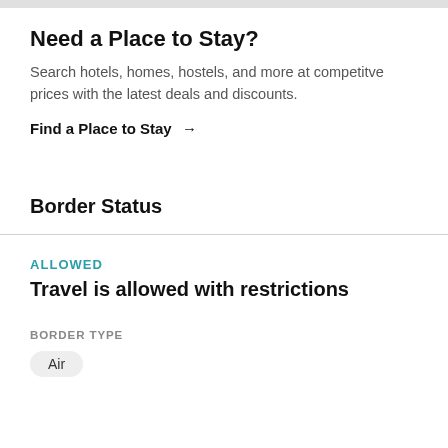Need a Place to Stay?
Search hotels, homes, hostels, and more at competitve prices with the latest deals and discounts.
Find a Place to Stay →
Border Status
ALLOWED
Travel is allowed with restrictions
BORDER TYPE
Air